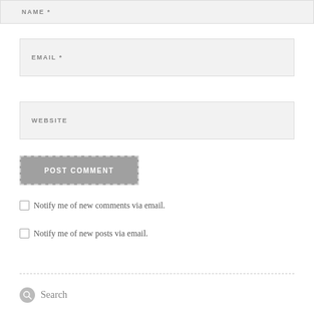NAME *
EMAIL *
WEBSITE
POST COMMENT
Notify me of new comments via email.
Notify me of new posts via email.
Search